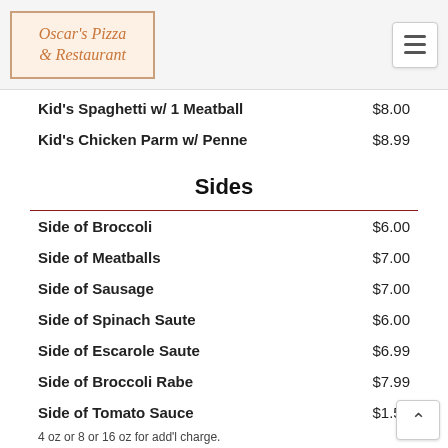Oscar's Pizza & Restaurant
Kid's Spaghetti w/ 1 Meatball  $8.00
Kid's Chicken Parm w/ Penne  $8.99
Sides
Side of Broccoli  $6.00
Side of Meatballs  $7.00
Side of Sausage  $7.00
Side of Spinach Saute  $6.00
Side of Escarole Saute  $6.99
Side of Broccoli Rabe  $7.99
Side of Tomato Sauce  $1.50
4 oz or 8 or 16 oz for add'l charge.